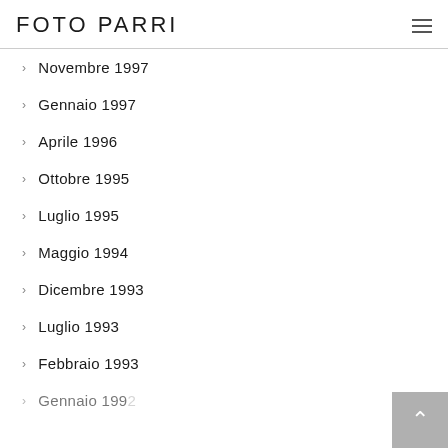FOTO PARRI
Novembre 1997
Gennaio 1997
Aprile 1996
Ottobre 1995
Luglio 1995
Maggio 1994
Dicembre 1993
Luglio 1993
Febbraio 1993
Gennaio 1992